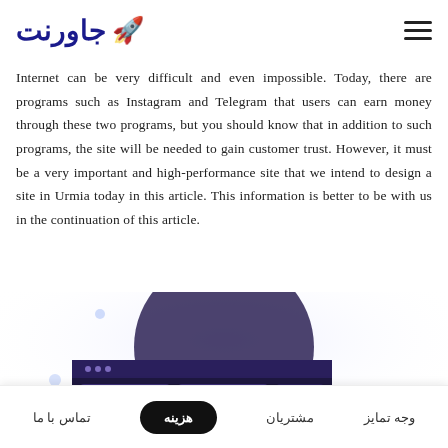جاورنت [logo with rocket emoji]
Internet can be very difficult and even impossible. Today, there are programs such as Instagram and Telegram that users can earn money through these two programs, but you should know that in addition to such programs, the site will be needed to gain customer trust. However, it must be a very important and high-performance site that we intend to design a site in Urmia today in this article. This information is better to be with us in the continuation of this article.
[Figure (illustration): Illustration of a desktop/laptop screen with web design UI elements, showing content panels and image placeholders, purple/dark color scheme]
تماس با ما | هزینه | مشتریان | وجه تمایز